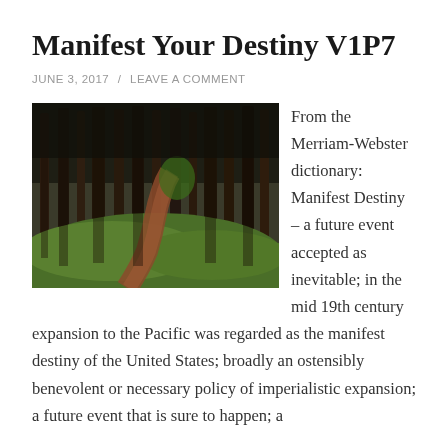Manifest Your Destiny V1P7
JUNE 3, 2017  /  LEAVE A COMMENT
[Figure (photo): A forest path winding through tall pine trees with green mossy ground cover]
From the Merriam-Webster dictionary: Manifest Destiny – a future event accepted as inevitable; in the mid 19th century expansion to the Pacific was regarded as the manifest destiny of the United States; broadly an ostensibly benevolent or necessary policy of imperialistic expansion;  a future event that is sure to happen; a